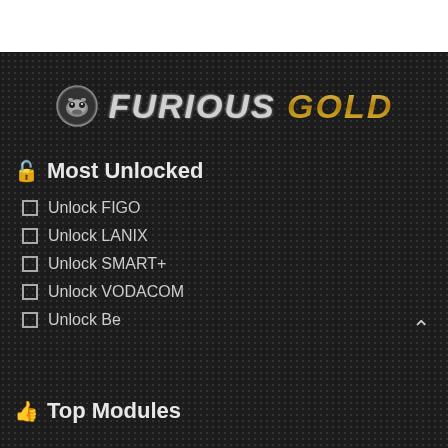[Figure (logo): Furious Gold logo with mascot icon — 'FURIOUS' in silver italic bold text and 'GOLD' in gold/yellow italic bold text]
🔓 Most Unlocked
Unlock FIGO
Unlock LANIX
Unlock SMART+
Unlock VODACOM
Unlock Be
👍 Top Modules